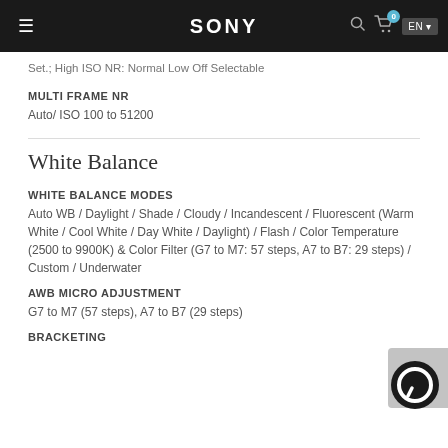SONY
Set.; High ISO NR: Normal Low Off Selectable
MULTI FRAME NR
Auto/ ISO 100 to 51200
White Balance
WHITE BALANCE MODES
Auto WB / Daylight / Shade / Cloudy / Incandescent / Fluorescent (Warm White / Cool White / Day White / Daylight) / Flash / Color Temperature (2500 to 9900K) & Color Filter (G7 to M7: 57 steps, A7 to B7: 29 steps) / Custom / Underwater
AWB MICRO ADJUSTMENT
G7 to M7 (57 steps), A7 to B7 (29 steps)
BRACKETING